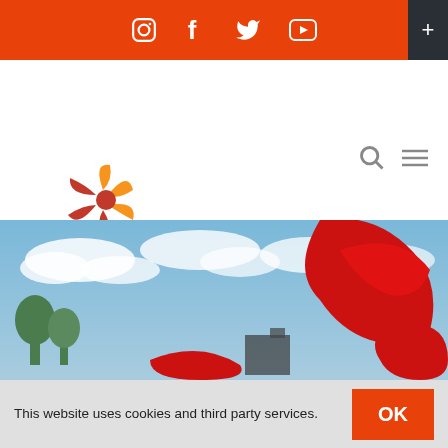[Figure (screenshot): Orange top navigation bar with social media icons: Instagram, Facebook, Twitter, YouTube, and a dark corner plus button]
[Figure (logo): IMAS International Museum of Art & Science logo with pinwheel design in orange and red, with text IMAS below]
[Figure (photo): Outdoor photo of large red abstract metal sculptures against a blue sky with white clouds and trees in background]
This website uses cookies and third party services.